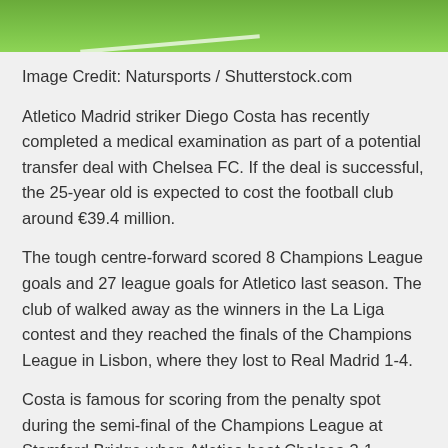[Figure (photo): Top portion of a football/soccer pitch showing green grass and white line markings]
Image Credit: Natursports / Shutterstock.com
Atletico Madrid striker Diego Costa has recently completed a medical examination as part of a potential transfer deal with Chelsea FC. If the deal is successful, the 25-year old is expected to cost the football club around €39.4 million.
The tough centre-forward scored 8 Champions League goals and 27 league goals for Atletico last season. The club of walked away as the winners in the La Liga contest and they reached the finals of the Champions League in Lisbon, where they lost to Real Madrid 1-4.
Costa is famous for scoring from the penalty spot during the semi-final of the Champions League at Stamford Bridge when Atletico beat Chelsea 3-1.